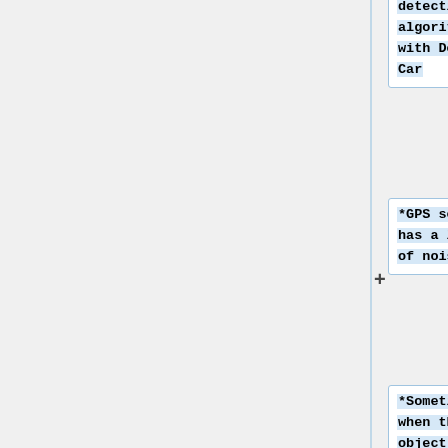detection algorithm with Donkey Car
*GPS sensor has a lot of noise
*Sometimes when the object detection algorithm is run, the Jetson (when powered by the battery) stops working because the